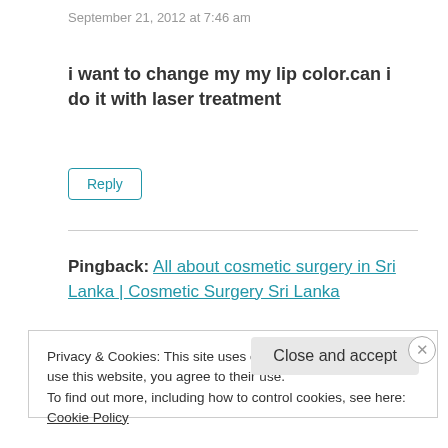September 21, 2012 at 7:46 am
i want to change my my lip color.can i do it with laser treatment
Reply
Pingback: All about cosmetic surgery in Sri Lanka | Cosmetic Surgery Sri Lanka
Privacy & Cookies: This site uses cookies. By continuing to use this website, you agree to their use.
To find out more, including how to control cookies, see here: Cookie Policy
Close and accept